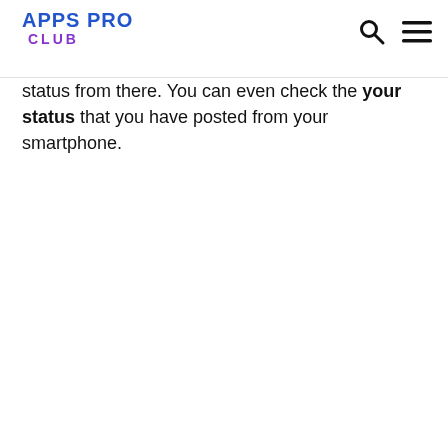APPS PRO CLUB
status from there. You can even check the your status that you have posted from your smartphone.